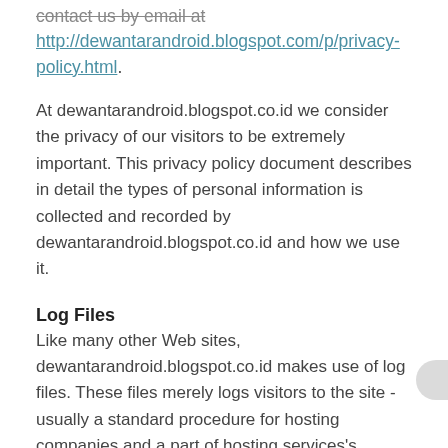contact us by email at http://dewantarandroid.blogspot.com/p/privacy-policy.html.
At dewantarandroid.blogspot.co.id we consider the privacy of our visitors to be extremely important. This privacy policy document describes in detail the types of personal information is collected and recorded by dewantarandroid.blogspot.co.id and how we use it.
Log Files
Like many other Web sites, dewantarandroid.blogspot.co.id makes use of log files. These files merely logs visitors to the site - usually a standard procedure for hosting companies and a part of hosting services's analytics. The information inside the log files includes internet protocol (IP) addresses, browser type, Internet Service Provider (ISP), date/time stamp, referring/exit pages, and possibly the number of clicks. This information is used to analyze trends,